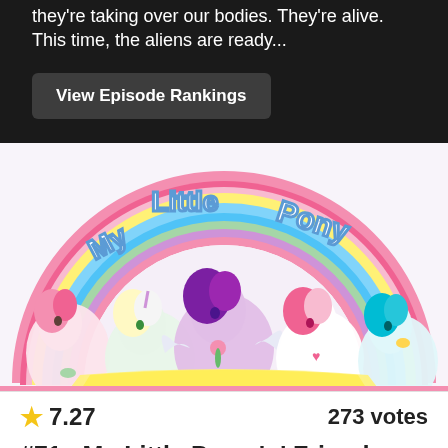they're taking over our bodies. They're alive. This time, the aliens are ready...
View Episode Rankings
[Figure (illustration): My Little Pony logo with rainbow arc and cartoon ponies including pegasus and unicorn characters]
★ 7.27    273 votes
#71   My Little Pony 'n' Friends